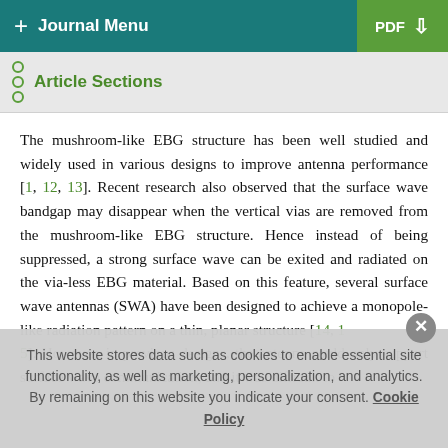+ Journal Menu | PDF ↓
Article Sections
The mushroom-like EBG structure has been well studied and widely used in various designs to improve antenna performance [1, 12, 13]. Recent research also observed that the surface wave bandgap may disappear when the vertical vias are removed from the mushroom-like EBG structure. Hence instead of being suppressed, a strong surface wave can be exited and radiated on the via-less EBG material. Based on this feature, several surface wave antennas (SWA) have been designed to achieve a monopole-like radiation pattern on a thin, planar structure [14, 15]. However, in previous designs, the antenna could only support surface wave communication, and it was difficult to
This website stores data such as cookies to enable essential site functionality, as well as marketing, personalization, and analytics. By remaining on this website you indicate your consent. Cookie Policy